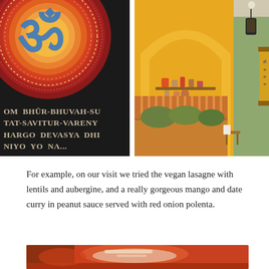[Figure (photo): Left photo: Om symbol painting on black background with colorful concentric circles (red, orange), and Sanskrit mantra text 'OM BHUR-BHUVAH-SU TAT-SAVITUR-VARENY HARGO DEVASYA DHI NIYO YO NA...' in cream/beige letters]
[Figure (photo): Right photo: Interior of Indian restaurant/yoga space with yellow arched wall, wooden bench seating with green cushions, decorative shelves with figurines, hanging lantern, and yellow Buddhist/Hindu banner]
For example, on our visit we tried the vegan lasagne with lentils and aubergine, and a really gorgeous mango and date curry in peanut sauce served with red onion polenta.
[Figure (photo): Bottom photo (partially visible): Food dish, appears to be curry or similar dish in a red/orange bowl, partially cropped]